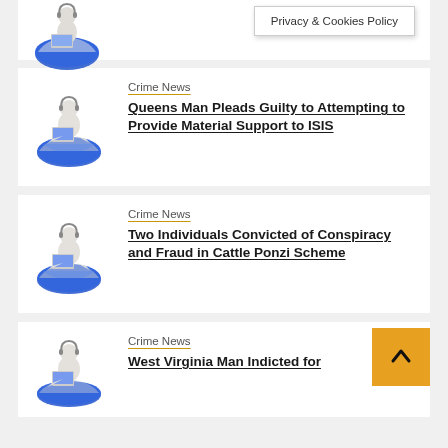[Figure (illustration): Partial top news card with globe figure and Privacy & Cookies Policy dropdown]
Privacy & Cookies Policy
[Figure (illustration): White cartoon figure sitting on globe with laptop]
Crime News
Queens Man Pleads Guilty to Attempting to Provide Material Support to ISIS
[Figure (illustration): White cartoon figure sitting on globe with laptop]
Crime News
Two Individuals Convicted of Conspiracy and Fraud in Cattle Ponzi Scheme
[Figure (illustration): White cartoon figure sitting on globe with laptop]
Crime News
West Virginia Man Indicted for